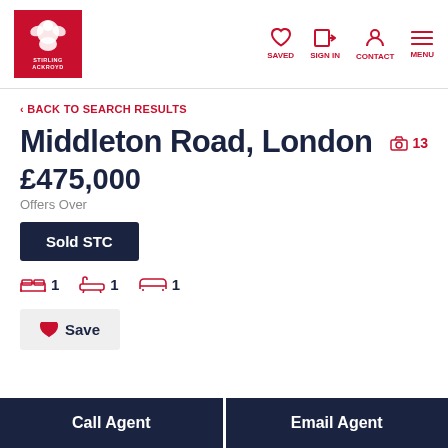Stirling Ackroyd — SAVED | SIGN IN | CONTACT | MENU
< BACK TO SEARCH RESULTS
Middleton Road, London
📷 13
£475,000
Offers Over
Sold STC
1 bedroom  1 bathroom  1 reception
Save
Call Agent
Email Agent